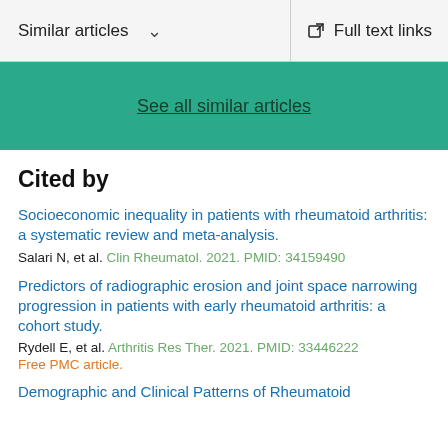Similar articles   ∨   Full text links
See all similar articles
Cited by
Socioeconomic inequality in patients with rheumatoid arthritis: a systematic review and meta-analysis.
Salari N, et al. Clin Rheumatol. 2021. PMID: 34159490
Predictors of radiographic erosion and joint space narrowing progression in patients with early rheumatoid arthritis: a cohort study.
Rydell E, et al. Arthritis Res Ther. 2021. PMID: 33446222
Free PMC article.
Demographic and Clinical Patterns of Rheumatoid